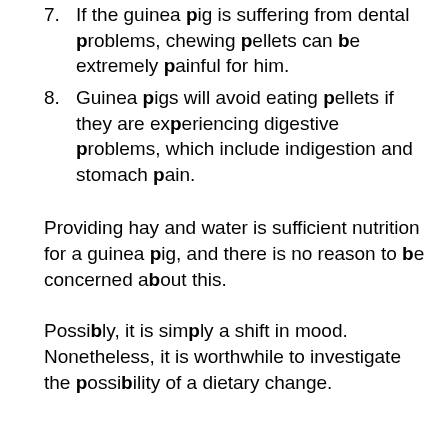7. If the guinea pig is suffering from dental problems, chewing pellets can be extremely painful for him.
8. Guinea pigs will avoid eating pellets if they are experiencing digestive problems, which include indigestion and stomach pain.
Providing hay and water is sufficient nutrition for a guinea pig, and there is no reason to be concerned about this.
Possibly, it is simply a shift in mood. Nonetheless, it is worthwhile to investigate the possibility of a dietary change.